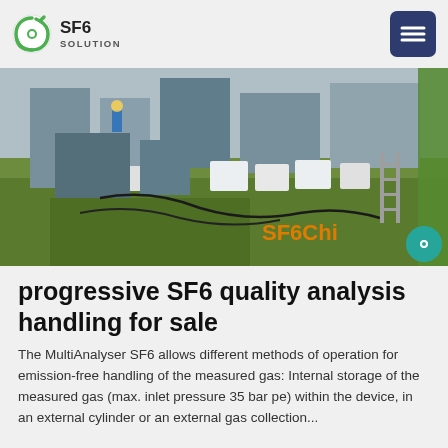SF6 SOLUTION
[Figure (photo): Outdoor industrial site with SF6 gas handling equipment, electrical switchgear cabinets on grass, worker in background, green tarp on right side. Orange text overlay: SF6Chi]
progressive SF6 quality analysis handling for sale
The MultiAnalyser SF6 allows different methods of operation for emission-free handling of the measured gas: Internal storage of the measured gas (max. inlet pressure 35 bar pe) within the device, in an external cylinder or an external gas collection...